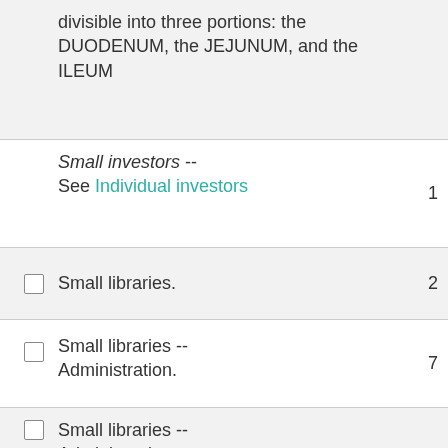divisible into three portions: the DUODENUM, the JEJUNUM, and the ILEUM
Small investors -- See Individual investors   1
Small libraries.   2
Small libraries -- Administration.   7
Small libraries -- Administration --   2